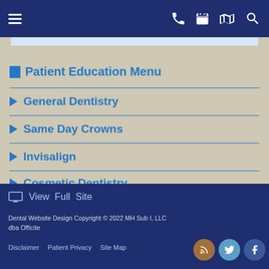Navigation header with hamburger menu, phone, calendar, map, and search icons
Patient Education Menu
General Dentistry
Same Day Crowns
Invisalign
Cosmetic Dentistry
View Full Site
Dental Website Design Copyright © 2022 MH Sub I, LLC dba Officite
Disclaimer   Patient Privacy   Site Map